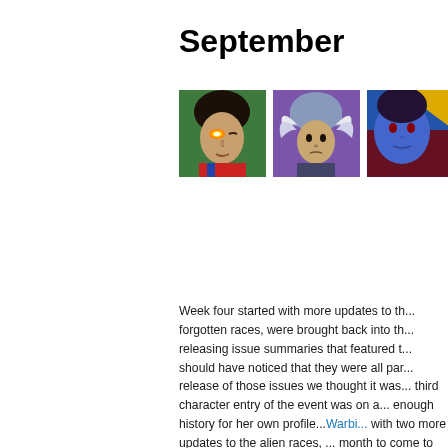September
[Figure (illustration): Three comic book character portrait images side by side: first shows a male character with glowing orange eye on green background, second shows a female character with helmet/wings on purple background, third shows a blue-skinned character on blue background (partially cropped).]
Week four started with more updates to th... forgotten races, were brought back into th... releasing issue summaries that featured t... should have noticed that they were all par... release of those issues we thought it was... third character entry of the event was on a... enough history for her own profile...Warbi... with two more updates to the alien races, ... month to come to an end but we couldn't b... glory of the event, the spotlight on Gladiat...
The event may have come to a close but... September was still going strong. Afte...